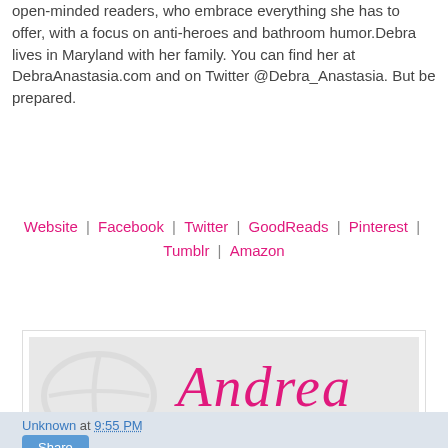open-minded readers, who embrace everything she has to offer, with a focus on anti-heroes and bathroom humor. Debra lives in Maryland with her family. You can find her at DebraAnastasia.com and on Twitter @Debra_Anastasia. But be prepared.
Website | Facebook | Twitter | GoodReads | Pinterest | Tumblr | Amazon
[Figure (illustration): Signature graphic with cursive name 'Andrea' in pink and the tagline 'Life is short. Read great books.' in cursive, on a light grey background with a faint book watermark.]
Unknown at 9:55 PM
Share